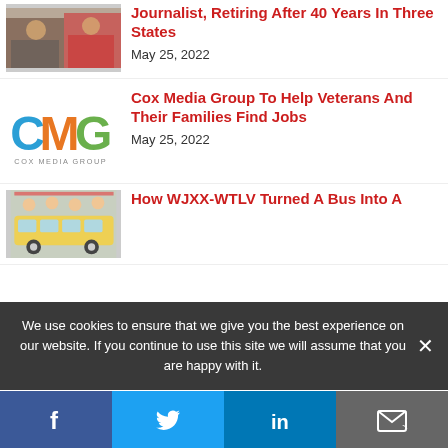[Figure (photo): Journalist photo thumbnail]
Journalist, Retiring After 40 Years In Three States
May 25, 2022
[Figure (logo): Cox Media Group (CMG) logo]
Cox Media Group To Help Veterans And Their Families Find Jobs
May 25, 2022
[Figure (photo): School bus event photo thumbnail]
How WJXX-WTLV Turned A Bus Into A
We use cookies to ensure that we give you the best experience on our website. If you continue to use this site we will assume that you are happy with it.